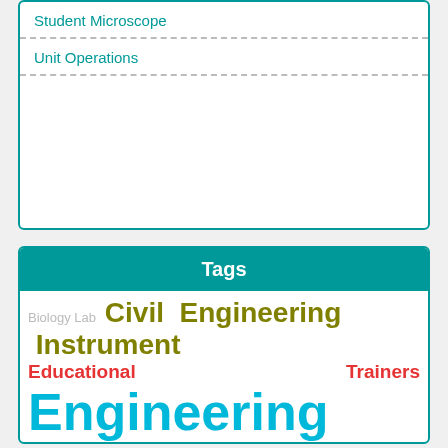Student Microscope
Unit Operations
Tags
[Figure (infographic): Tag cloud with education and engineering lab equipment related keywords in various colors and font sizes: Biology Lab (small gray), Civil Engineering Instrument (large olive), Educational (medium red), Trainers (medium red), Engineering (extra large cyan), Lab (extra large cyan), Equipment (extra large cyan), Fluid Mechanics (large red), Food Technology Lab Equipment (large olive), Heat Transfer Lab (medium red), Laboratory Equipment (small gray), Laboratory (large olive), Microscopes (large olive), Mass Transfer Lab (large red), Measuring (small gray), Instruments (small gray), Pharmacy Lab Equipment (small gray), Physics (extra large orange)]